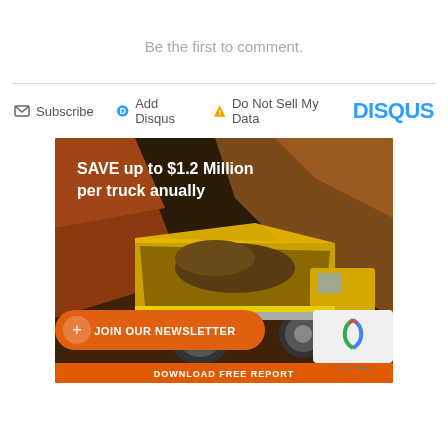Be the first to comment.
Subscribe  Add Disqus  Do Not Sell My Data  DISQUS
[Figure (photo): Mining truck advertisement banner for GRT saying 'SAVE up to $1.2 Million per truck anually' with a large yellow dump truck in a mine pit, orange download button bar, GRT logo, and a JOIN OUR NEWSLETTER orange button overlay]